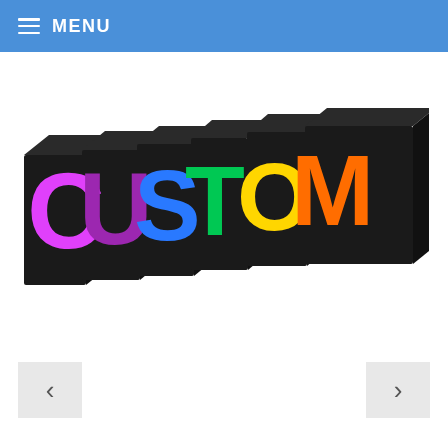MENU
[Figure (illustration): 3D colorful letters spelling CUSTOM on black block bases. C is pink/magenta, U is purple, S is blue, T is green, O is yellow, M is orange. Letters are arranged in a receding perspective from left to right.]
<
>